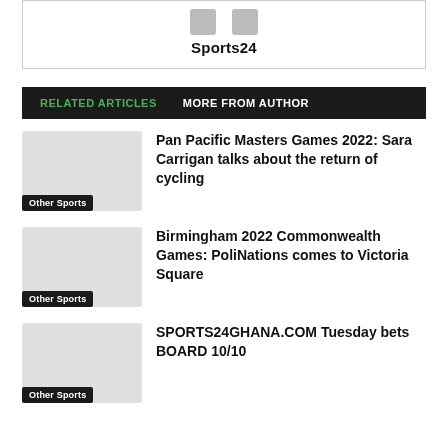[Figure (logo): Sports24 logo with two small icon placeholders above the text label]
Sports24
RELATED ARTICLES   MORE FROM AUTHOR
Pan Pacific Masters Games 2022: Sara Carrigan talks about the return of cycling
Other Sports
Birmingham 2022 Commonwealth Games: PoliNations comes to Victoria Square
Other Sports
SPORTS24GHANA.COM Tuesday bets BOARD 10/10
Other Sports